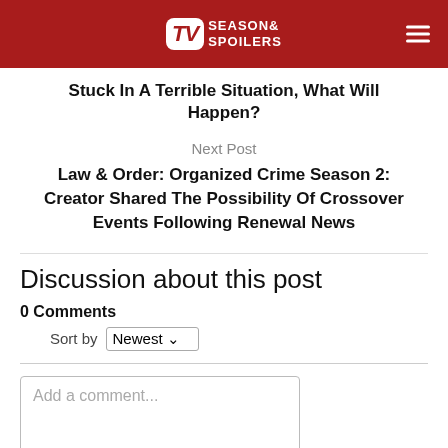TV Season & Spoilers
Stuck In A Terrible Situation, What Will Happen?
Next Post
Law & Order: Organized Crime Season 2: Creator Shared The Possibility Of Crossover Events Following Renewal News
Discussion about this post
0 Comments
Sort by Newest
Add a comment...